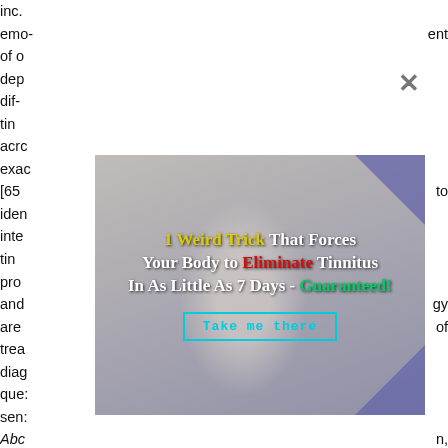inc. emo- of d dep dif- tin acr exa [65 iden inte tin pro and are tre dia que sen Abc and dail tinn sma eno has
ent gy of n, 1 e
[Figure (photo): Advertisement overlay showing a woman holding her ears/head with text: '1 Weird Trick That Forces Your Body to Eliminate Tinnitus In As Little As 7 Days - Guaranteed!' with a 'Take me there' button, dismissible with an X close button.]